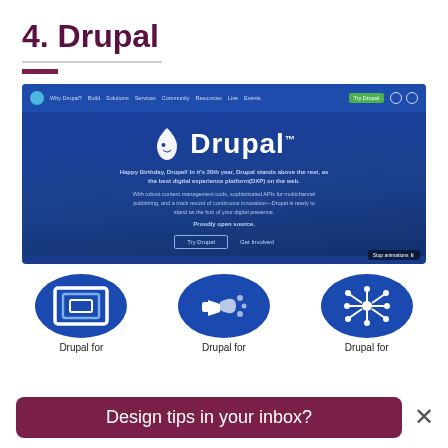4. Drupal
[Figure (screenshot): Drupal.org website screenshot showing the Drupal homepage with navigation bar, Drupal logo, hero section with 'Happy Birthday, Drupal!' text, 'Proudly open source.' tagline, 'Try Drupal' and 'Get Involved' buttons, and three oval icons below labeled 'Drupal for']
Drupal for
Drupal for
Drupal for
Design tips in your inbox?